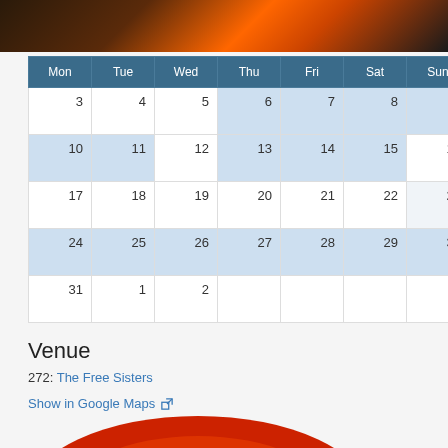[Figure (photo): Top portion of a photo showing a performer on stage with warm orange/red lighting and dark background]
| Mon | Tue | Wed | Thu | Fri | Sat | Sun |
| --- | --- | --- | --- | --- | --- | --- |
| 3 | 4 | 5 | 6 | 7 | 8 | 9 |
| 10 | 11 | 12 | 13 | 14 | 15 | 16 |
| 17 | 18 | 19 | 20 | 21 | 22 | 23 |
| 24 | 25 | 26 | 27 | 28 | 29 | 30 |
| 31 | 1 | 2 |  |  |  |  |
Venue
272: The Free Sisters
Show in Google Maps
[Figure (photo): Bottom portion of a circular photo showing something red, partially cropped at the bottom of the page]